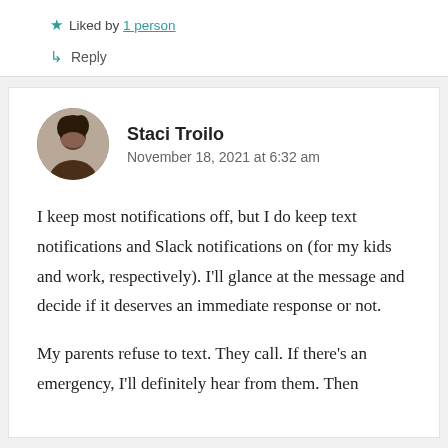★ Liked by 1 person
↳ Reply
Staci Troilo
November 18, 2021 at 6:32 am
I keep most notifications off, but I do keep text notifications and Slack notifications on (for my kids and work, respectively). I'll glance at the message and decide if it deserves an immediate response or not.
My parents refuse to text. They call. If there's an emergency, I'll definitely hear from them. Then